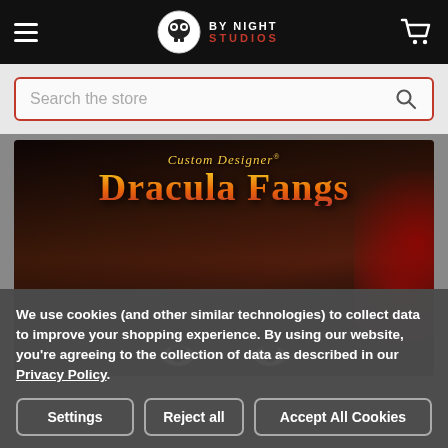By Night Studios — navigation header with hamburger menu, logo, and cart icon
Search the store
[Figure (screenshot): Custom Designer Dracula Fangs product image — horror-themed text with a close-up of a person's eyes looking up, with dramatic lighting and blood splatter effects]
We use cookies (and other similar technologies) to collect data to improve your shopping experience. By using our website, you're agreeing to the collection of data as described in our Privacy Policy.
Settings | Reject all | Accept All Cookies